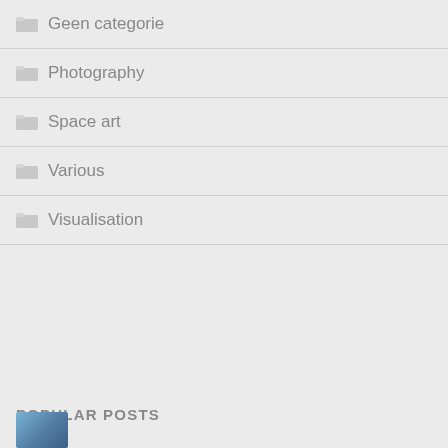Geen categorie
Photography
Space art
Various
Visualisation
POPULAR POSTS